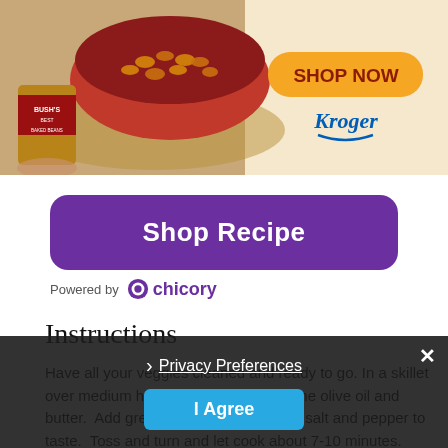[Figure (photo): Bush's baked beans advertisement showing a can of Bush's beans and a red bowl of baked beans on a cork mat background, with a 'SHOP NOW' button and Kroger logo on the right side]
[Figure (infographic): Purple 'Shop Recipe' button followed by 'Powered by chicory' text with chicory logo]
Instructions
Have all your veggies cleaned and ready to go. In a skillet over medium high heat, combine half the olive oil and butter.  Add green beans, oregano and salt and pepper to taste.  Toss and turn and let cook about 7-10 minutes.  Turn off blaze.  Put tomatoes and prosciutto in with the
[Figure (infographic): Dark privacy consent overlay with 'Privacy Preferences' link, 'I Agree' button, and close X button]
Privacy Preferences
I Agree